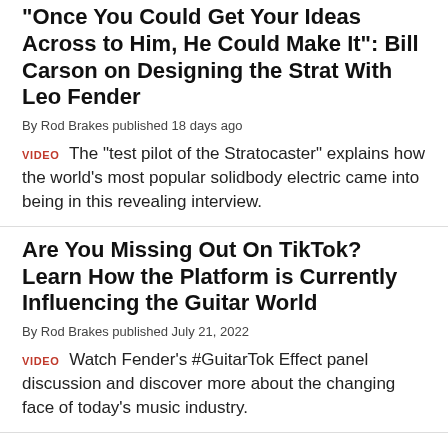“Once You Could Get Your Ideas Across to Him, He Could Make It”: Bill Carson on Designing the Strat With Leo Fender
By Rod Brakes published 18 days ago
VIDEO  The "test pilot of the Stratocaster" explains how the world’s most popular solidbody electric came into being in this revealing interview.
Are You Missing Out On TikTok? Learn How the Platform is Currently Influencing the Guitar World
By Rod Brakes published July 21, 2022
VIDEO  Watch Fender's #GuitarTok Effect panel discussion and discover more about the changing face of today’s music industry.